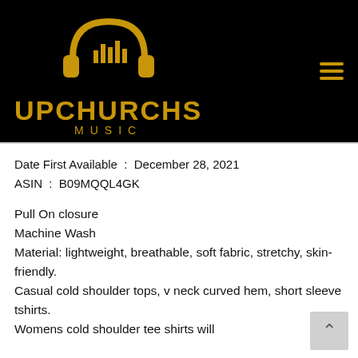[Figure (logo): Upchurchs Music logo with golden headphones and bar chart graphic on black background]
Date First Available : December 28, 2021
ASIN : B09MQQL4GK
Pull On closure
Machine Wash
Material: lightweight, breathable, soft fabric, stretchy, skin-friendly.
Casual cold shoulder tops, v neck curved hem, short sleeve tshirts.
Womens cold shoulder tee shirts will